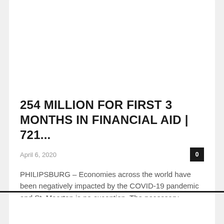254 MILLION FOR FIRST 3 MONTHS IN FINANCIAL AID | 721...
April 6, 2020
PHILIPSBURG – Economies across the world have been negatively impacted by the COVID-19 pandemic and St. Maarten is no exception. The necessary measures of closing...